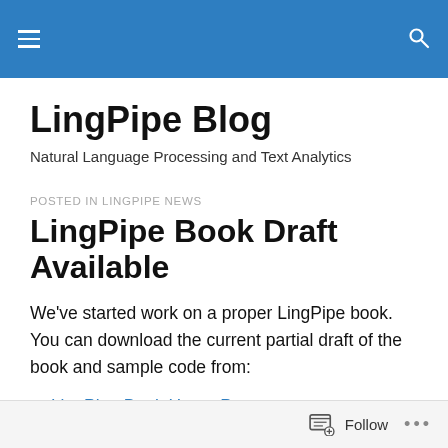LingPipe Blog [navigation bar with hamburger and search icons]
LingPipe Blog
Natural Language Processing and Text Analytics
POSTED IN LINGPIPE NEWS
LingPipe Book Draft Available
We've started work on a proper LingPipe book. You can download the current partial draft of the book and sample code from:
LingPipe Book Home Page
Follow ...